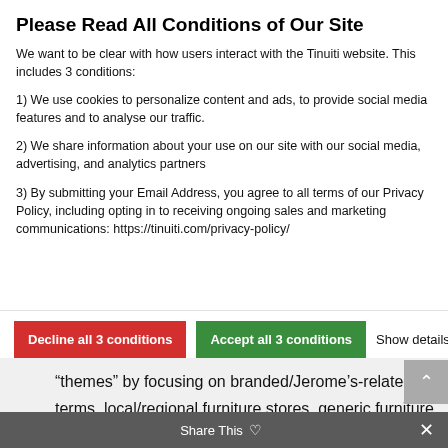Please Read All Conditions of Our Site
We want to be clear with how users interact with the Tinuiti website. This includes 3 conditions:
1) We use cookies to personalize content and ads, to provide social media features and to analyse our traffic.
2) We share information about your use on our site with our social media, advertising, and analytics partners
3) By submitting your Email Address, you agree to all terms of our Privacy Policy, including opting in to receiving ongoing sales and marketing communications: https://tinuiti.com/privacy-policy/
Decline all 3 conditions | Accept all 3 conditions | Show details
“themes” by focusing on branded/Jerome’s-related terms, local/regional furniture stores, generic furniture queries, and competitor terms.
Ultimately split s…